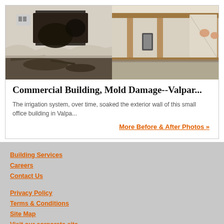[Figure (photo): Two side-by-side before/after photos of mold damage in a commercial building. Left photo shows water-damaged wall with mold, debris on floor, and exposed wiring. Right photo shows opened wall with exposed framing and drywall removed.]
Commercial Building, Mold Damage--Valpar...
The irrigation system, over time, soaked the exterior wall of this small office building in Valpa...
More Before & After Photos »
Building Services
Careers
Contact Us
Privacy Policy
Terms & Conditions
Site Map
Visit our corporate site
SERVPRO of Porter County
P: (219) 476-1883
1608 Firestone Ln.